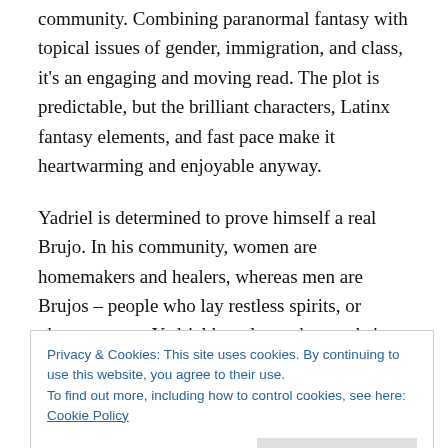community. Combining paranormal fantasy with topical issues of gender, immigration, and class, it's an engaging and moving read. The plot is predictable, but the brilliant characters, Latinx fantasy elements, and fast pace make it heartwarming and enjoyable anyway.
Yadriel is determined to prove himself a real Brujo. In his community, women are homemakers and healers, whereas men are Brujos – people who lay restless spirits, or ghosts, to rest. Yadriel has always known he's a man – even if his family refuses to accept it – and decides to
Privacy & Cookies: This site uses cookies. By continuing to use this website, you agree to their use.
To find out more, including how to control cookies, see here: Cookie Policy
Close and accept
into death. Instead, he's determined to figure out how he